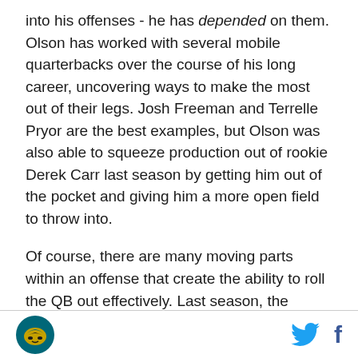into his offenses - he has depended on them. Olson has worked with several mobile quarterbacks over the course of his long career, uncovering ways to make the most out of their legs. Josh Freeman and Terrelle Pryor are the best examples, but Olson was also able to squeeze production out of rookie Derek Carr last season by getting him out of the pocket and giving him a more open field to throw into.
Of course, there are many moving parts within an offense that create the ability to roll the QB out effectively. Last season, the Jaguars had limited success moving the ball on offense at all, making it difficult at times to call rollouts and other plays that